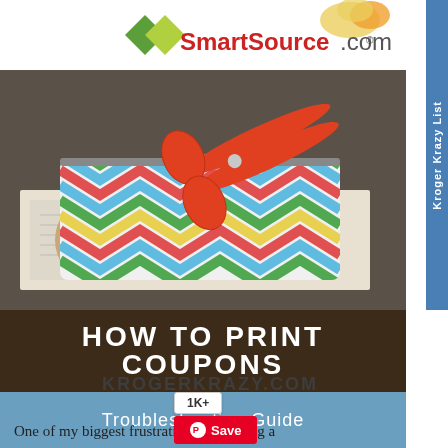[Figure (photo): Photo of a colorful chevron-patterned zippered pouch with orange scissors on top of newspaper coupons, with a SmartSource.com logo banner at the top. A blue side tab reads 'Kroger Krazy List' vertically on the right.]
HOW TO PRINT COUPONS
Troubleshooting Guide
KROGERKRAZY.COM
1K+
Save
One of my biggest frustrations with being a